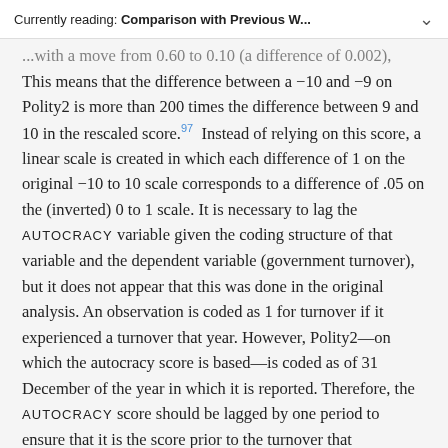Currently reading: Comparison with Previous W...
...with a move from 0.60 to 0.10 (a difference of 0.002). This means that the difference between a −10 and −9 on Polity2 is more than 200 times the difference between 9 and 10 in the rescaled score.97 Instead of relying on this score, a linear scale is created in which each difference of 1 on the original −10 to 10 scale corresponds to a difference of .05 on the (inverted) 0 to 1 scale. It is necessary to lag the AUTOCRACY variable given the coding structure of that variable and the dependent variable (government turnover), but it does not appear that this was done in the original analysis. An observation is coded as 1 for turnover if it experienced a turnover that year. However, Polity2—on which the autocracy score is based—is coded as of 31 December of the year in which it is reported. Therefore, the AUTOCRACY score should be lagged by one period to ensure that it is the score prior to the turnover that